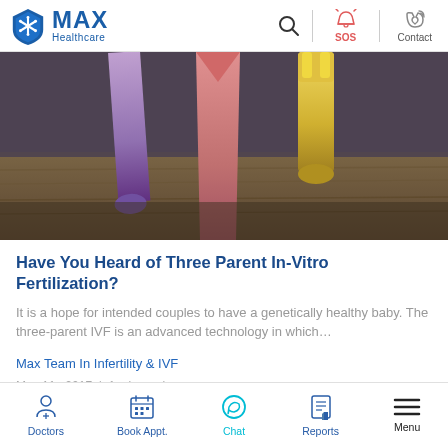MAX Healthcare
[Figure (photo): Close-up photo of colorful crayons (purple, pink, yellow) standing upright on a wooden surface]
Have You Heard of Three Parent In-Vitro Fertilization?
It is a hope for intended couples to have a genetically healthy baby. The three-parent IVF is an advanced technology in which…
Max Team In Infertility & IVF
May 11 , 2017  |  1 min read
Doctors  Book Appt.  Chat  Reports  Menu